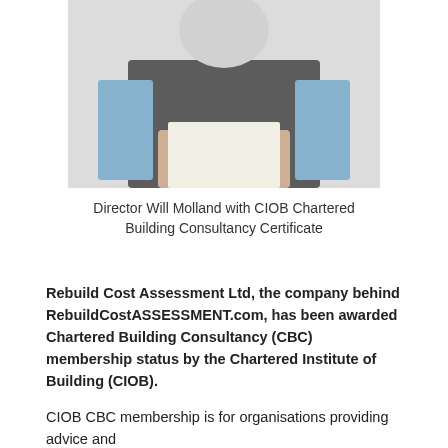[Figure (photo): A person holding a certificate/document, wearing a dark vest over a blue long-sleeve shirt, photographed from roughly chest level down, against a light background.]
Director Will Molland with CIOB Chartered Building Consultancy Certificate
Rebuild Cost Assessment Ltd, the company behind RebuildCostASSESSMENT.com, has been awarded Chartered Building Consultancy (CBC) membership status by the Chartered Institute of Building (CIOB).
CIOB CBC membership is for organisations providing advice and